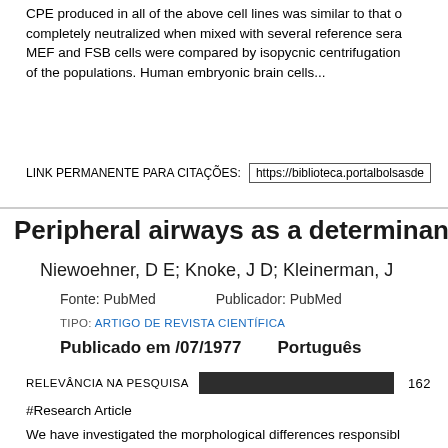CPE produced in all of the above cell lines was similar to that o completely neutralized when mixed with several reference sera MEF and FSB cells were compared by isopycnic centrifugation of the populations. Human embryonic brain cells...
LINK PERMANENTE PARA CITAÇÕES: https://biblioteca.portalbolsasde
Peripheral airways as a determinant of ventila
Niewoehner, D E; Knoke, J D; Kleinerman, J
Fonte: PubMed    Publicador: PubMed
TIPO: ARTIGO DE REVISTA CIENTÍFICA
Publicado em /07/1977    Português
RELEVÂNCIA NA PESQUISA  162
#Research Article
We have investigated the morphological differences responsibl rates (MEF) and the frequency dependence of dynamic complia minimally diseased postmortem human lungs. Morphological m levels in the bronchial tree, the amount of bronchial gland mass that the diameter of the peripheral conduction airways (memb